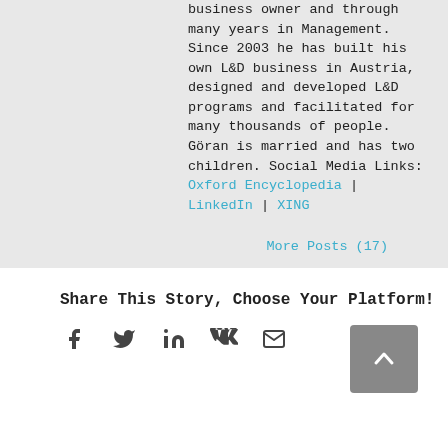business owner and through many years in Management. Since 2003 he has built his own L&D business in Austria, designed and developed L&D programs and facilitated for many thousands of people. Göran is married and has two children. Social Media Links: Oxford Encyclopedia | LinkedIn | XING
More Posts (17)
Share This Story, Choose Your Platform!
[Figure (infographic): Social share icons: Facebook, Twitter, LinkedIn, VK, Email, and a back-to-top button]